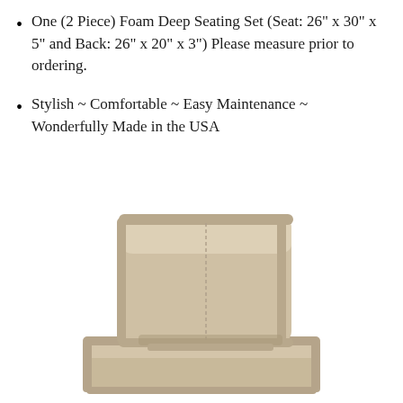One (2 Piece) Foam Deep Seating Set (Seat: 26" x 30" x 5" and Back: 26" x 20" x 3") Please measure prior to ordering.
Stylish ~ Comfortable ~ Easy Maintenance ~ Wonderfully Made in the USA
[Figure (photo): A beige/tan foam deep seating cushion set showing a back cushion positioned upright on a seat cushion, both with piped edges, photographed on white background.]